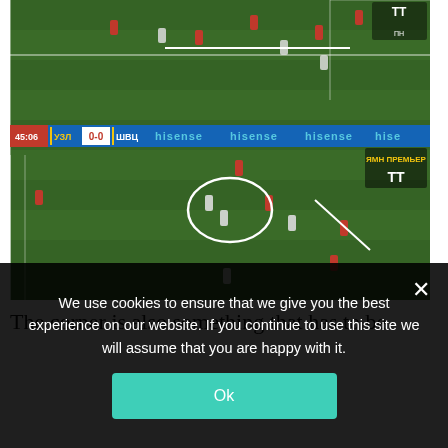[Figure (screenshot): Screenshot of a football (soccer) match broadcast on TV. The match is shown on a green field with players in red and white/gray kits. A white circle highlights two players in the lower-center of the frame. A diagonal white line is drawn on the right side. The TV overlay shows the scoreline: УЗЛ 0-0 ШВЦ at 45:06, with 'hisense' sponsor branding across the middle bar. Logos appear top-right and mid-right of the frame.]
The corner is also something that has to be
We use cookies to ensure that we give you the best experience on our website. If you continue to use this site we will assume that you are happy with it.